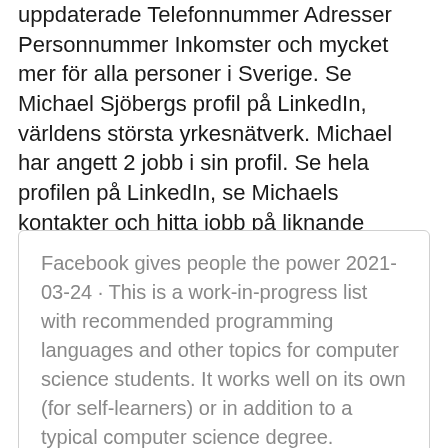uppdaterade Telefonnummer Adresser Personnummer Inkomster och mycket mer för alla personer i Sverige. Se Michael Sjöbergs profil på LinkedIn, världens största yrkesnätverk. Michael har angett 2 jobb i sin profil. Se hela profilen på LinkedIn, se Michaels kontakter och hitta jobb på liknande företag. Michael Sjöberg is on Facebook.
Facebook gives people the power 2021-03-24 · This is a work-in-progress list with recommended programming languages and other topics for computer science students. It works well on its own (for self-learners) or in addition to a typical computer science degree.